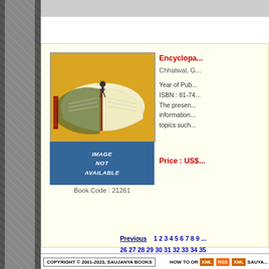[Figure (illustration): Book cover illustration: colorful image of an open encyclopedia with a person standing on top, with decorative border]
IMAGE NOT AVAILABLE
Book Code : 21261
Encyclopedia...
Chhatwal, G...
Year of Pub...
ISBN : 81-74...
The present... information... topics such...
Price : US$...
Previous  1 2 3 4 5 6 7 8 9... 26 27 28 29 30 31 32 33 34 35... 52 53 54 55 56 57 58 59 60 6... 78 79 80 81 82 83 84 85 86 87... 103 104 105 106 107 108 10... 121 122 123 124 125 126 12... 139 140 141 142 143 144 144... 157 158 159 160 161 162 163... 175 176 177 178 179 180 18... 193 194 195 196 197 198 19...
COPYRIGHT © 2001-2023, SAUJANYA BOOKS    HOW TO OR...   XML  RSS  XML  SAUYA...